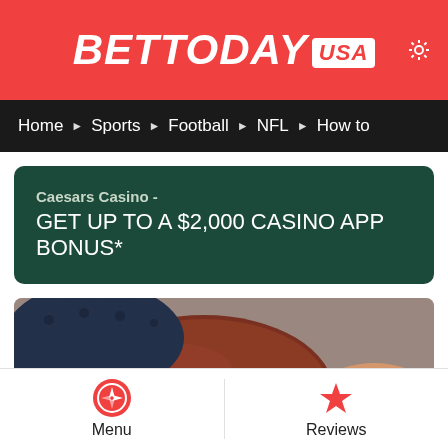BETTODAY USA
Home > Sports > Football > NFL > How to
Caesars Casino - GET UP TO A $2,000 CASINO APP BONUS*
[Figure (photo): Close-up photo of a hand wearing a dark blue glove gripping an American football, showing the leather surface and laces.]
Menu | Reviews